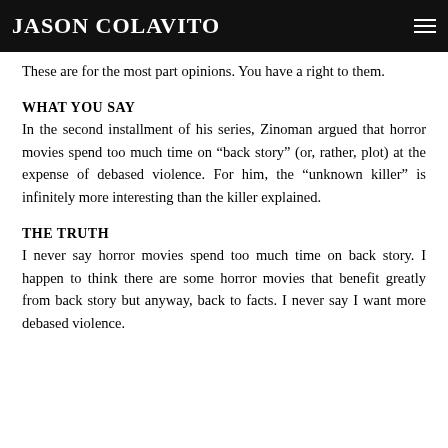JASON COLAVITO
These are for the most part opinions. You have a right to them.
WHAT YOU SAY
In the second installment of his series, Zinoman argued that horror movies spend too much time on “back story” (or, rather, plot) at the expense of debased violence. For him, the “unknown killer” is infinitely more interesting than the killer explained.
THE TRUTH
I never say horror movies spend too much time on back story. I happen to think there are some horror movies that benefit greatly from back story but anyway, back to facts. I never say I want more debased violence.